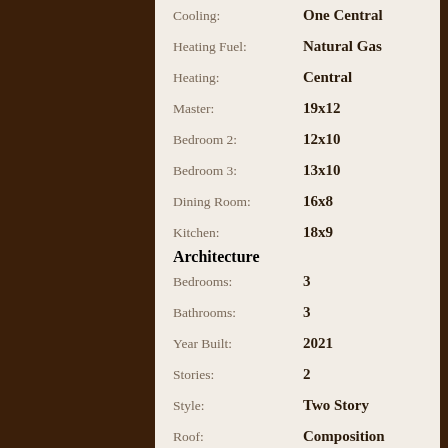Cooling: One Central
Heating Fuel: Natural Gas
Heating: Central
Master: 19x12
Bedroom 2: 12x10
Bedroom 3: 13x10
Dining Room: 16x8
Kitchen: 18x9
Architecture
Bedrooms: 3
Bathrooms: 3
Year Built: 2021
Stories: 2
Style: Two Story
Roof: Composition
Foundation: Slab